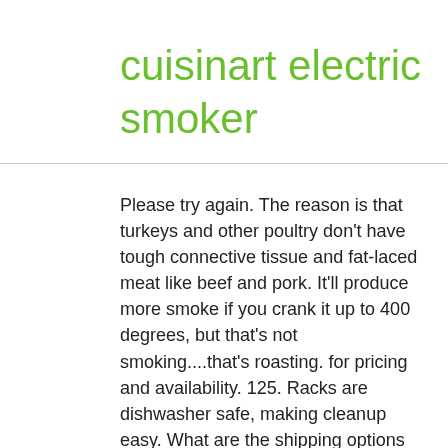cuisinart electric smoker
Please try again. The reason is that turkeys and other poultry don't have tough connective tissue and fat-laced meat like beef and pork. It'll produce more smoke if you crank it up to 400 degrees, but that's not smoking....that's roasting. for pricing and availability. 125. Racks are dishwasher safe, making cleanup easy. What are the shipping options for electric smokers? .p13n-sc-grid-four-pack{content:"";display:table;clear:both;width:100%;border-top:solid #fff 1px}.p13n-sc-grid-four-pack-no-border{border-top:none}.p13n-sc-grid-four-pack-header{padding-left:15px}div.p13n-sc-grid-four-pack-faceout-container{width:50%;height:190px;float:left;box-sizing:border-box;-moz-box-sizing:border-box;-